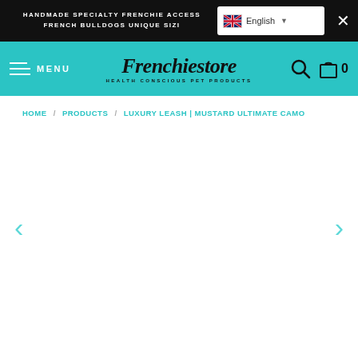HANDMADE SPECIALTY FRENCHIE ACCESS... FRENCH BULLDOGS UNIQUE SIZI...
[Figure (screenshot): Frenchiestore logo with text 'HEALTH CONSCIOUS PET PRODUCTS']
HOME / PRODUCTS / LUXURY LEASH | MUSTARD ULTIMATE CAMO
[Figure (photo): Empty product image area with left and right navigation arrows for Luxury Leash Mustard Ultimate Camo product]